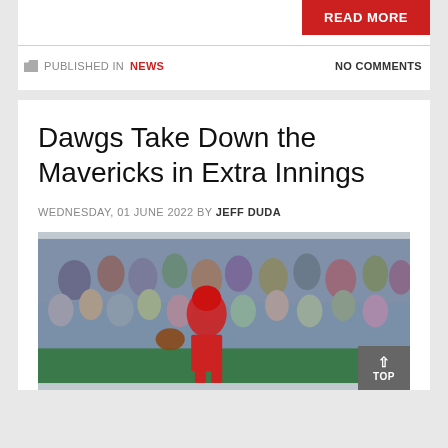READ MORE
PUBLISHED IN NEWS   NO COMMENTS
Dawgs Take Down the Mavericks in Extra Innings
WEDNESDAY, 01 JUNE 2022 BY JEFF DUDA
[Figure (photo): Baseball catcher in red uniform and gear celebrating in front of a crowd of fans at a baseball stadium]